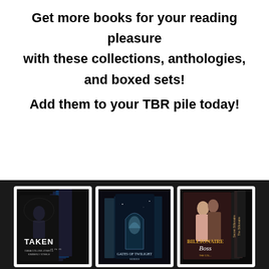Get more books for your reading pleasure with these collections, anthologies, and boxed sets!
Add them to your TBR pile today!
[Figure (photo): Three book boxed set covers displayed against a dark background: 'Taken' (dark thriller), a fantasy/gates series, and 'Billionaire Boss' (romance).]